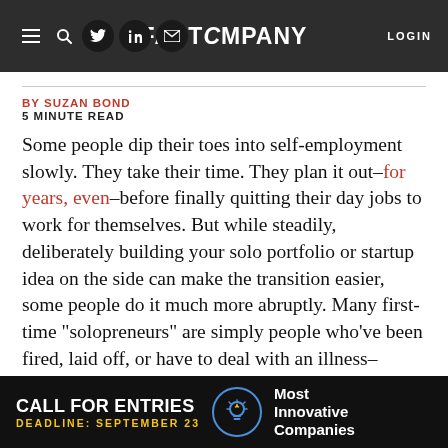FAST COMPANY
BY SUZAN BOND
5 MINUTE READ
Some people dip their toes into self-employment slowly. They take their time. They plan it out–for years, even–before finally quitting their day jobs to work for themselves. But while steadily, deliberately building your solo portfolio or startup idea on the side can make the transition easier, some people do it much more abruptly. Many first-time "solopreneurs" are simply people who've been fired, laid off, or have to deal with an illness–whether their own or in their families–and that can sharply dial up the pressure on
[Figure (screenshot): Advertisement banner: CALL FOR ENTRIES, DEADLINE: SEPTEMBER 23, Most Innovative Companies]